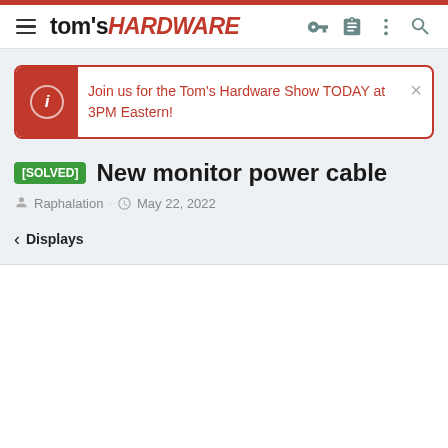tom's HARDWARE
Join us for the Tom's Hardware Show TODAY at 3PM Eastern!
[SOLVED] New monitor power cable
Raphalation · May 22, 2022
< Displays